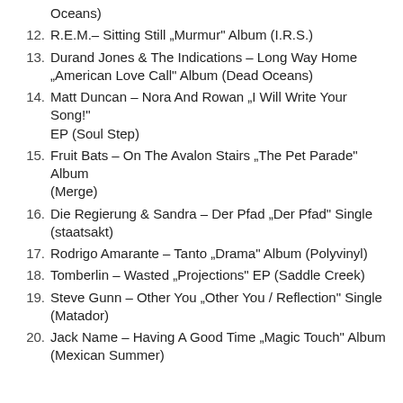Oceans)
12. R.E.M.– Sitting Still „Murmur" Album (I.R.S.)
13. Durand Jones & The Indications – Long Way Home „American Love Call" Album (Dead Oceans)
14. Matt Duncan – Nora And Rowan „I Will Write Your Song!" EP (Soul Step)
15. Fruit Bats – On The Avalon Stairs „The Pet Parade" Album (Merge)
16. Die Regierung & Sandra – Der Pfad „Der Pfad" Single (staatsakt)
17. Rodrigo Amarante – Tanto „Drama" Album (Polyvinyl)
18. Tomberlin – Wasted „Projections" EP (Saddle Creek)
19. Steve Gunn – Other You „Other You / Reflection" Single (Matador)
20. Jack Name – Having A Good Time „Magic Touch" Album (Mexican Summer)